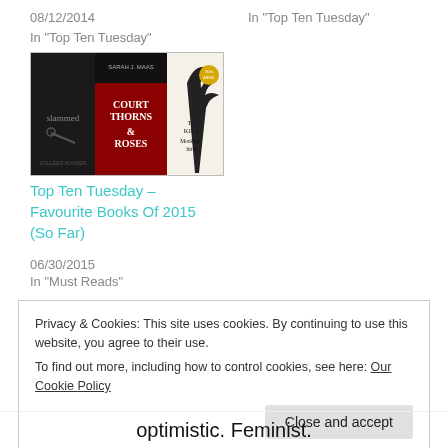08/12/2014
In "Top Ten Tuesday"
In "Top Ten Tuesday"
[Figure (photo): Three book covers: Slammed, A Court of Thorns and Roses (Sarah J. Maas), and To Kill a Mockingbird]
Top Ten Tuesday – Favourite Books Of 2015 (So Far)
06/30/2015
In "Must Reads"
Privacy & Cookies: This site uses cookies. By continuing to use this website, you agree to their use.
To find out more, including how to control cookies, see here: Our Cookie Policy
Close and accept
optimistic. Feminist.